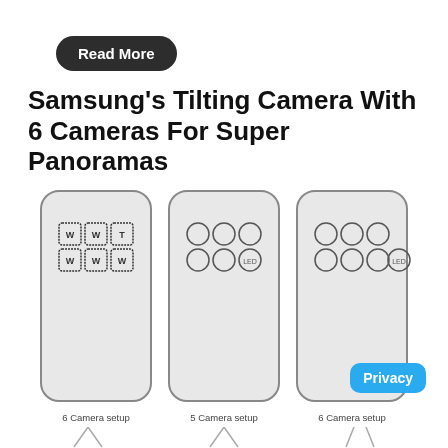[Figure (other): Read More button — dark rounded rectangle with white bold text]
Samsung's Tilting Camera With 6 Cameras For Super Panoramas
[Figure (schematic): Three smartphone back panel diagrams side by side showing camera configurations: '6 Camera setup' with 6 square camera icons labeled W/W/T/W/W/W, '5 Camera setup' with 5 circular camera icons + LED, '6 Camera setup' with 6 circular camera icons + LED. A blue 'Privacy' badge overlays bottom-right of the third diagram. Below each diagram is a caption and chevron arrows.]
6 Camera setup
5 Camera setup
6 Camera setup